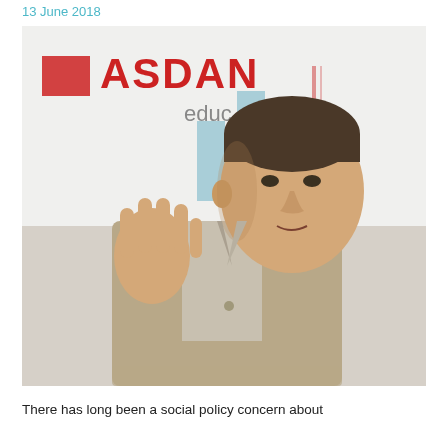13 June 2018
[Figure (photo): A man in a beige/khaki blazer speaking at an event, raising his right hand with palm open. Behind him is a banner with the ASDAN education logo and what appears to be a bar chart graphic.]
There has long been a social policy concern about